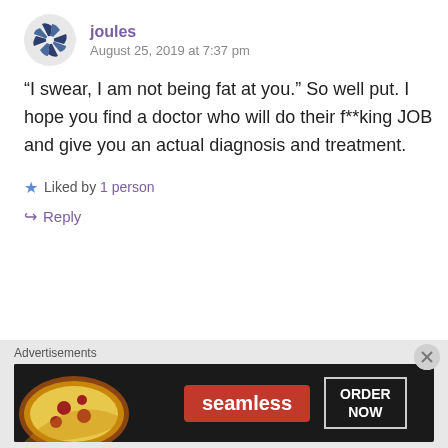joules
August 25, 2019 at 7:37 pm
“I swear, I am not being fat at you.” So well put. I hope you find a doctor who will do their f**king JOB and give you an actual diagnosis and treatment.
Liked by 1 person
Reply
Advertisements
[Figure (screenshot): Seamless food delivery advertisement banner with pizza image, red Seamless logo, and ORDER NOW button on dark background]